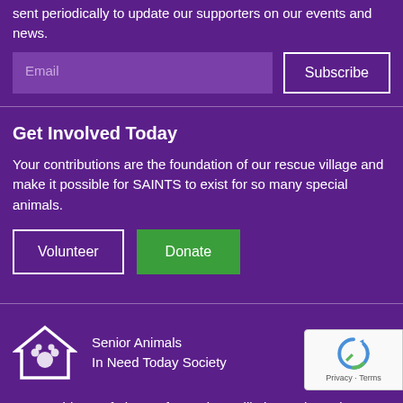sent periodically to update our supporters on our events and news.
[Figure (screenshot): Email input field and Subscribe button on purple background]
Get Involved Today
Your contributions are the foundation of our rescue village and make it possible for SAINTS to exist for so many special animals.
[Figure (screenshot): Volunteer and Donate buttons]
[Figure (logo): Senior Animals In Need Today Society logo with house and paw icon]
We provide a safe haven for senior, palliative and special needs animals.
[Figure (screenshot): reCAPTCHA badge with Privacy and Terms links]